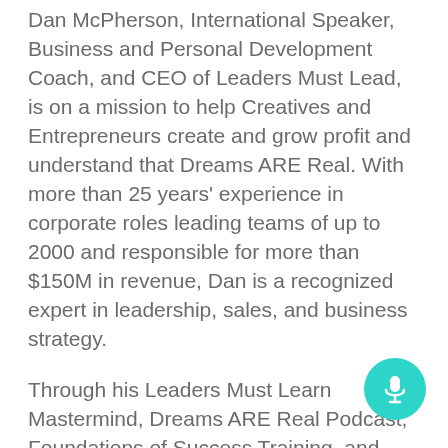Dan McPherson, International Speaker, Business and Personal Development Coach, and CEO of Leaders Must Lead, is on a mission to help Creatives and Entrepreneurs create and grow profit and understand that Dreams ARE Real. With more than 25 years' experience in corporate roles leading teams of up to 2000 and responsible for more than $150M in revenue, Dan is a recognized expert in leadership, sales, and business strategy.
Through his Leaders Must Learn Mastermind, Dreams ARE Real Podcast, Foundations of Success Training, and powerful 1-1 coaching, Dan helps hundreds of entrepreneurs around the world from musicians and artists to chiropractors, coaches, retailers, and beyond experience success and accomplish their goals.
[Figure (other): Teal circular microphone button in the bottom-right corner]